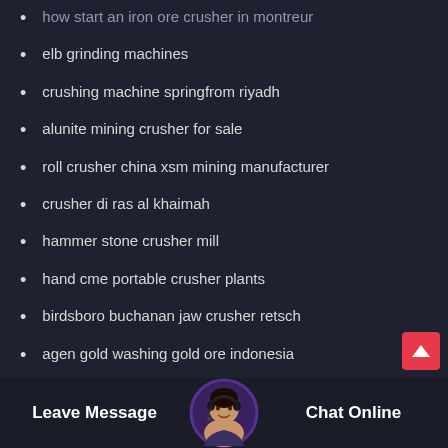how start an iron ore crusher in montreur
elb grinding machines
crushing machine springfrom riyadh
alunite mining crusher for sale
roll crusher china xsm mining manufacturer
crusher di ras al khaimah
hammer stone crusher mill
hand cme portable crusher plants
birdsboro buchanan jaw crusher retsch
agen gold washing gold ore indonesia
stone crusher equipment dealer in el salvador youtube
gold ore processing plant cone crusher from gitega
[Figure (screenshot): Customer support chat widget with avatar of a woman wearing a headset, Leave Message and Chat Online buttons at the bottom, and a scroll-to-top red button]
Leave Message    Chat Online